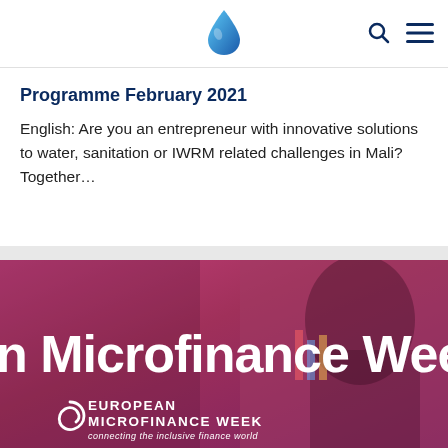[Water drop logo] [Search icon] [Menu icon]
Programme February 2021
English: Are you an entrepreneur with innovative solutions to water, sanitation or IWRM related challenges in Mali? Together...
[Figure (photo): European Microfinance Week banner image showing a person in a pink/purple toned photo with text overlay reading 'n Microfinance Week' and the European Microfinance Week logo with tagline 'connecting the inclusive finance world']